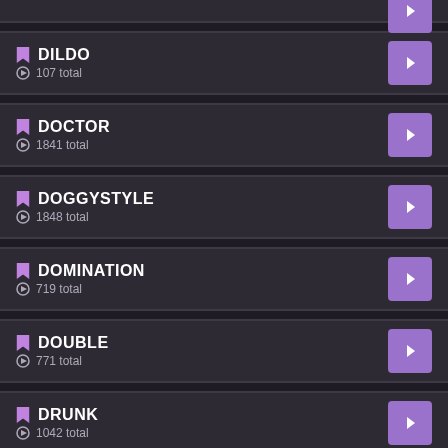DILDO — 107 total
DOCTOR — 1841 total
DOGGYSTYLE — 1848 total
DOMINATION — 719 total
DOUBLE — 771 total
DRUNK — 1042 total
DUTCH — 363 total